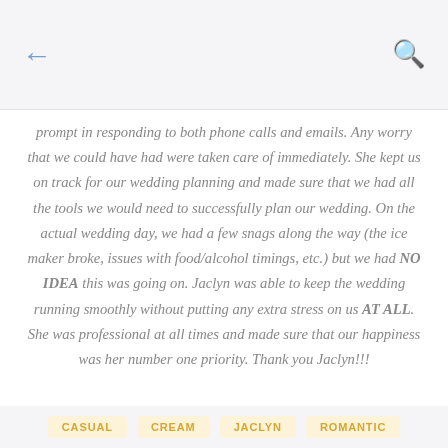← (back)    🔍 (search)
prompt in responding to both phone calls and emails. Any worry that we could have had were taken care of immediately. She kept us on track for our wedding planning and made sure that we had all the tools we would need to successfully plan our wedding. On the actual wedding day, we had a few snags along the way (the ice maker broke, issues with food/alcohol timings, etc.) but we had NO IDEA this was going on. Jaclyn was able to keep the wedding running smoothly without putting any extra stress on us AT ALL. She was professional at all times and made sure that our happiness was her number one priority. Thank you Jaclyn!!!
CASUAL
CREAM
JACLYN
ROMANTIC